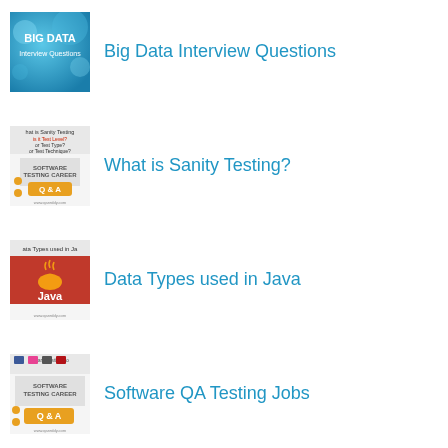[Figure (illustration): Big Data Interview Questions thumbnail - blue bokeh background with text 'BIG DATA Interview Questions']
Big Data Interview Questions
[Figure (illustration): What is Sanity Testing? thumbnail - white background with text questions and Software Testing Career Q&A logo]
What is Sanity Testing?
[Figure (illustration): Data Types used in Java thumbnail - red background with Java logo steaming cup icon]
Data Types used in Java
[Figure (illustration): Software QA Testing Jobs thumbnail - Software Testing Career Q&A with logos]
Software QA Testing Jobs